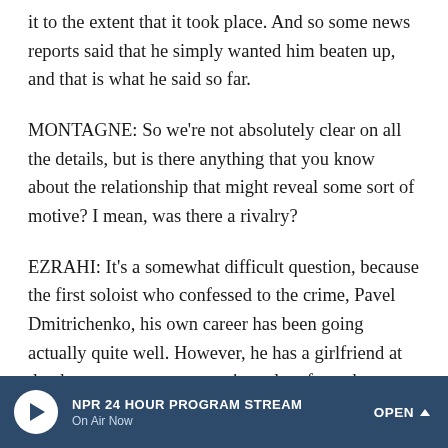it to the extent that it took place. And so some news reports said that he simply wanted him beaten up, and that is what he said so far.
MONTAGNE: So we're not absolutely clear on all the details, but is there anything that you know about the relationship that might reveal some sort of motive? I mean, was there a rivalry?
EZRAHI: It's a somewhat difficult question, because the first soloist who confessed to the crime, Pavel Dmitrichenko, his own career has been going actually quite well. However, he has a girlfriend at the theater, a young, upcoming talent from the Russian provinces, might have been disgruntled because she wanted to dance "Swan Lake." Sergei Filin thought it's
NPR 24 HOUR PROGRAM STREAM
On Air Now
OPEN